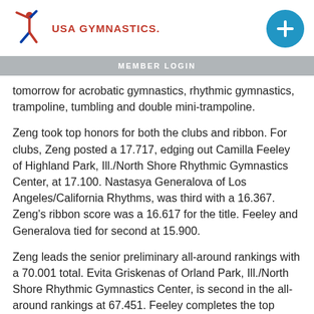USA GYMNASTICS — MEMBER LOGIN
tomorrow for acrobatic gymnastics, rhythmic gymnastics, trampoline, tumbling and double mini-trampoline.
Zeng took top honors for both the clubs and ribbon. For clubs, Zeng posted a 17.717, edging out Camilla Feeley of Highland Park, Ill./North Shore Rhythmic Gymnastics Center, at 17.100. Nastasya Generalova of Los Angeles/California Rhythms, was third with a 16.367. Zeng's ribbon score was a 16.617 for the title. Feeley and Generalova tied for second at 15.900.
Zeng leads the senior preliminary all-around rankings with a 70.001 total. Evita Griskenas of Orland Park, Ill./North Shore Rhythmic Gymnastics Center, is second in the all-around rankings at 67.451. Feeley completes the top three at 66.818.
Kapitonova swept the junior rhythmic gold medals, winning the all-around (61.185), hoop (15.917), ball (15.850), clubs (14.984) and ribbon (14.434). Lennox Hopkins-Wilkins of Puyallup, Wash./Evergreen Rhythmics, was second in the all-